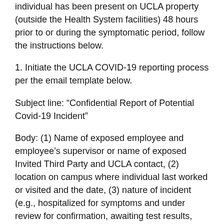individual has been present on UCLA property (outside the Health System facilities) 48 hours prior to or during the symptomatic period, follow the instructions below.
1. Initiate the UCLA COVID-19 reporting process per the email template below.
Subject line: “Confidential Report of Potential Covid-19 Incident”
Body: (1) Name of exposed employee and employee’s supervisor or name of exposed Invited Third Party and UCLA contact, (2) location on campus where individual last worked or visited and the date, (3) nature of incident (e.g., hospitalized for symptoms and under review for confirmation, awaiting test results, etc.), (4) contact number of the exposed employee, and (5) actions taken (e.g., referred to UCLA COVID Call Center, advised not to return to work until cleared, notified EH&S of potential Cal/OSHA reporting due to hospitalization, etc.).